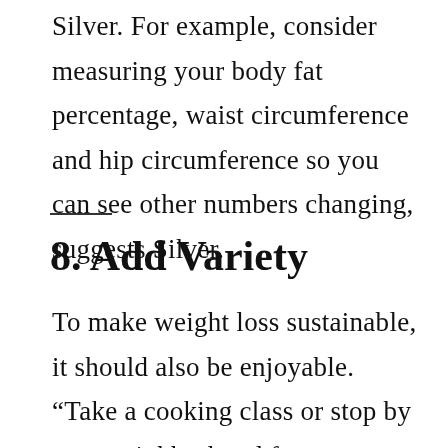Silver. For example, consider measuring your body fat percentage, waist circumference and hip circumference so you can see other numbers changing, suggests Silver.
8. Add Variety
To make weight loss sustainable, it should also be enjoyable. “Take a cooking class or stop by your neighborhood farmers market for fresh ideas to keep your taste buds